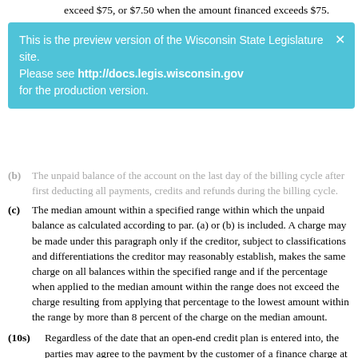exceed $75, or $7.50 when the amount financed exceeds $75.
[Figure (other): Preview banner overlay: 'This is the preview version of the Wisconsin State Legislature site. Please see http://docs.legis.wisconsin.gov for the production version.']
(b) The unpaid balance of the account on the last day of the billing cycle after first deducting all payments, credits and refunds during the billing cycle.
(c) The median amount within a specified range within which the unpaid balance as calculated according to par. (a) or (b) is included. A charge may be made under this paragraph only if the creditor, subject to classifications and differentiations the creditor may reasonably establish, makes the same charge on all balances within the specified range and if the percentage when applied to the median amount within the range does not exceed the charge resulting from applying that percentage to the lowest amount within the range by more than 8 percent of the charge on the median amount.
(10s) Regardless of the date that an open-end credit plan is entered into, the parties may agree to the payment by the customer of a finance charge at any periodic rate.
(11) Anything to the contrary in this chapter notwithstanding, with respect to consumer credit sales and consumer loans secured by real property and insured or guaranteed by the federal government, or any agency or instrumentality thereof, this